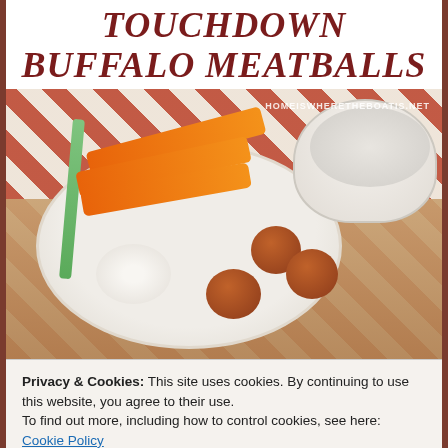Touchdown Buffalo Meatballs
[Figure (photo): A plate with buffalo meatballs, carrot sticks, celery, and blue cheese dip, with a bowl of blue cheese in the background on a red and white striped cloth. Watermark: homeiswheretheboatis.net]
Privacy & Cookies: This site uses cookies. By continuing to use this website, you agree to their use.
To find out more, including how to control cookies, see here:
Cookie Policy
Close and accept
ahead recipe